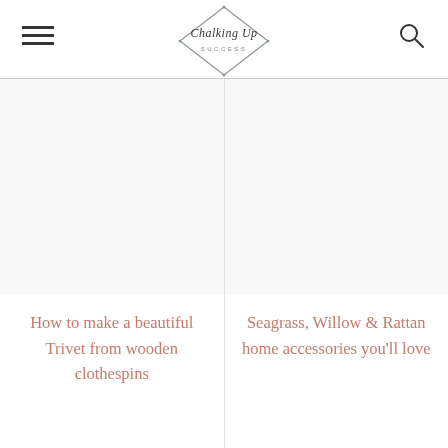Chalking Up Success
[Figure (illustration): Blank/white image placeholder for left article thumbnail]
[Figure (illustration): Blank/white image placeholder for right article thumbnail]
How to make a beautiful Trivet from wooden clothespins
Seagrass, Willow & Rattan home accessories you'll love